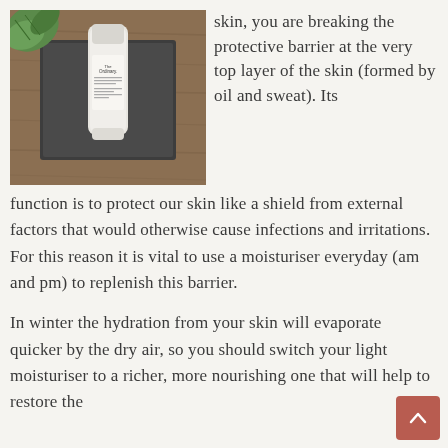[Figure (photo): Photo of The Ordinary moisturiser tube placed on a dark grey/black surface with a green plant leaf visible in the top left corner, on a wooden background.]
skin, you are breaking the protective barrier at the very top layer of the skin (formed by oil and sweat). Its function is to protect our skin like a shield from external factors that would otherwise cause infections and irritations. For this reason it is vital to use a moisturiser everyday (am and pm) to replenish this barrier.
In winter the hydration from your skin will evaporate quicker by the dry air, so you should switch your light moisturiser to a richer, more nourishing one that will help to restore the